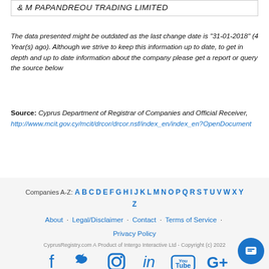& M PAPANDREOU TRADING LIMITED
The data presented might be outdated as the last change date is "31-01-2018" (4 Year(s) ago). Although we strive to keep this information up to date, to get in depth and up to date information about the company please get a report or query the source below
Source: Cyprus Department of Registrar of Companies and Official Receiver, http://www.mcit.gov.cy/mcit/drcor/drcor.nsf/index_en/index_en?OpenDocument
Companies A-Z: A B C D E F G H I J K L M N O P Q R S T U V W X Y Z
About · Legal/Disclaimer · Contact · Terms of Service · Privacy Policy
CyprusRegistry.com A Product of Intergo Interactive Ltd - Copyright (c) 2022